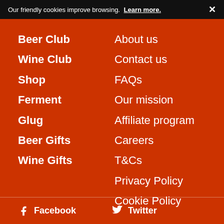Our friendly cookies improve browsing. Learn more. ✕
Beer Club
Wine Club
Shop
Ferment
Glug
Beer Gifts
Wine Gifts
About us
Contact us
FAQs
Our mission
Affiliate program
Careers
T&Cs
Privacy Policy
Cookie Policy
Facebook  Twitter  Instagram  YouTube